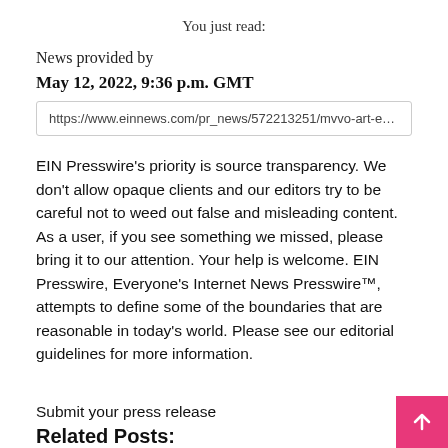You just read:
News provided by
May 12, 2022, 9:36 p.m. GMT
https://www.einnews.com/pr_news/572213251/mvvo-art-exhit
EIN Presswire’s priority is source transparency. We don’t allow opaque clients and our editors try to be careful not to weed out false and misleading content. As a user, if you see something we missed, please bring it to our attention. Your help is welcome. EIN Presswire, Everyone’s Internet News Presswire™, attempts to define some of the boundaries that are reasonable in today’s world. Please see our editorial guidelines for more information.
Submit your press release
Related Posts: